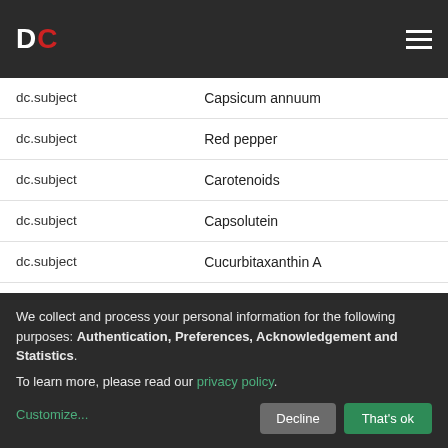DC
| Field | Value |
| --- | --- |
| dc.subject | Capsicum annuum |
| dc.subject | Red pepper |
| dc.subject | Carotenoids |
| dc.subject | Capsolutein |
| dc.subject | Cucurbitaxanthin A |
| dc.title | Isolation and Identification of the Carotenoid Capsolutein from Capsicum annuum as Cucurbitaxanthin A |
We collect and process your personal information for the following purposes: Authentication, Preferences, Acknowledgement and Statistics. To learn more, please read our privacy policy.